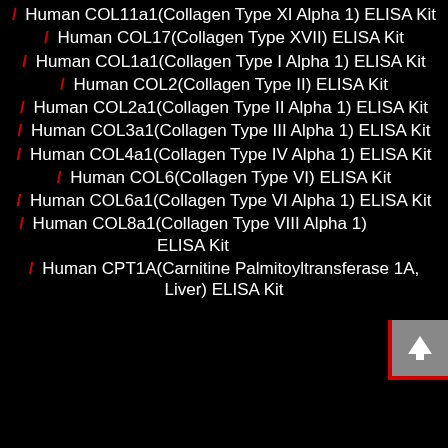/ Human COL11a1(Collagen Type XI Alpha 1) ELISA Kit
/ Human COL17(Collagen Type XVII) ELISA Kit
/ Human COL1a1(Collagen Type I Alpha 1) ELISA Kit
/ Human COL2(Collagen Type II) ELISA Kit
/ Human COL2a1(Collagen Type II Alpha 1) ELISA Kit
/ Human COL3a1(Collagen Type III Alpha 1) ELISA Kit
/ Human COL4a1(Collagen Type IV Alpha 1) ELISA Kit
/ Human COL6(Collagen Type VI) ELISA Kit
/ Human COL6a1(Collagen Type VI Alpha 1) ELISA Kit
/ Human COL8a1(Collagen Type VIII Alpha 1) ELISA Kit
/ Human CPT1A(Carnitine Palmitoyltransferase 1A, Liver) ELISA Kit